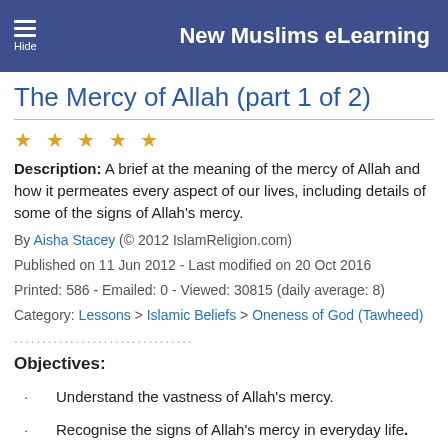New Muslims eLearning
The Mercy of Allah (part 1 of 2)
Description: A brief at the meaning of the mercy of Allah and how it permeates every aspect of our lives, including details of some of the signs of Allah's mercy.
By Aisha Stacey (© 2012 IslamReligion.com)
Published on 11 Jun 2012 - Last modified on 20 Oct 2016
Printed: 586 - Emailed: 0 - Viewed: 30815 (daily average: 8)
Category: Lessons > Islamic Beliefs > Oneness of God (Tawheed)
Objectives:
Understand the vastness of Allah's mercy.
Recognise the signs of Allah's mercy in everyday life.
Arabic terms: